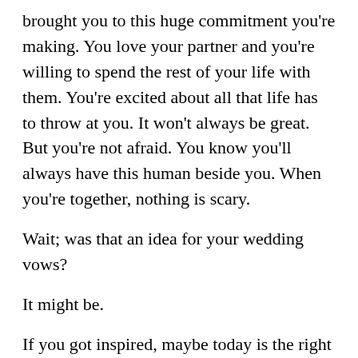brought you to this huge commitment you're making. You love your partner and you're willing to spend the rest of your life with them. You're excited about all that life has to throw at you. It won't always be great. But you're not afraid. You know you'll always have this human beside you. When you're together, nothing is scary.
Wait; was that an idea for your wedding vows?
It might be.
If you got inspired, maybe today is the right day for writing. Remember: be honest. Be you. That's good enough for the perfect vows.
Images:
https://www.pexels.com/photo/groom-and-bride-kissing-1589818/
https://www.pexels.com/photo/couple-under-